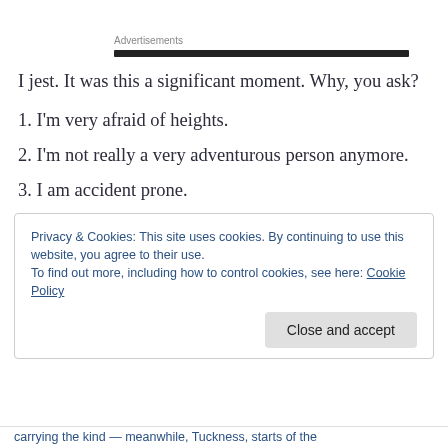Advertisements
I jest. It was this a significant moment. Why, you ask?
1. I'm very afraid of heights.
2. I'm not really a very adventurous person anymore.
3. I am accident prone.
Privacy & Cookies: This site uses cookies. By continuing to use this website, you agree to their use.
To find out more, including how to control cookies, see here: Cookie Policy
Close and accept
...carrying the kind — meanwhile, Tuckness, starts of the